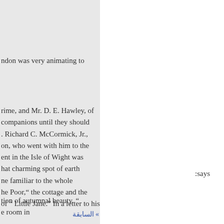ndon was very animating to
rime, and Mr. D. E. Hawley, of companions until they should . Richard C. McCormick, Jr., on, who went with him to the ent in the Isle of Wight was hat charming spot of earth ne familiar to the whole he Poor," the cottage and the of " Little Jane." In a letter to his
:says
tion of autumnal beauty. "
e room in
» السابقة